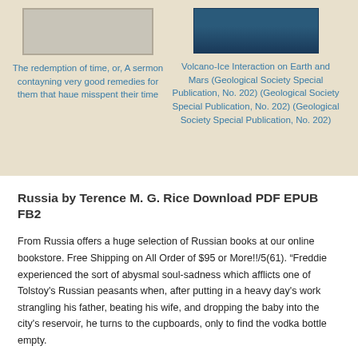[Figure (illustration): Book cover thumbnail - light gray/beige blank cover on left side]
The redemption of time, or, A sermon contayning very good remedies for them that haue misspent their time
[Figure (illustration): Book cover thumbnail - dark blue cover with text 'Published by The Geological Society' on right side]
Volcano-Ice Interaction on Earth and Mars (Geological Society Special Publication, No. 202) (Geological Society Special Publication, No. 202) (Geological Society Special Publication, No. 202)
Russia by Terence M. G. Rice Download PDF EPUB FB2
From Russia offers a huge selection of Russian books at our online bookstore. Free Shipping on All Order of $95 or More!!/5(61). “Freddie experienced the sort of abysmal soul-sadness which afflicts one of Tolstoy's Russian peasants when, after putting in a heavy day's work strangling his father, beating his wife, and dropping the baby into the city's reservoir, he turns to the cupboards, only to find the vodka bottle empty.